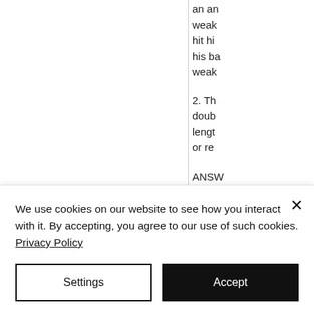an an weak hit hi his ba weak
2. Th doub lengt or re
ANSW This i choo
We use cookies on our website to see how you interact with it. By accepting, you agree to our use of such cookies. Privacy Policy